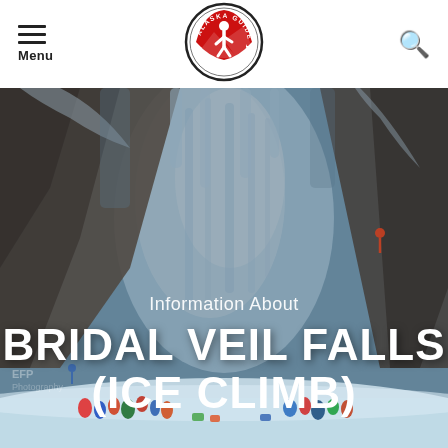Menu | Alaska Guide Co. Wilderness Adventures | Search
[Figure (photo): Aerial/wide view of Bridal Veil Falls frozen ice wall in winter with climbers and people gathered at the base in the snow, rocky cliffs on either side]
Information About
BRIDAL VEIL FALLS (ICE CLIMB)